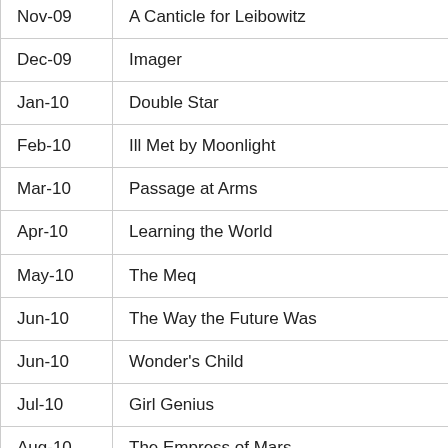| Nov-09 | A Canticle for Leibowitz |
| Dec-09 | Imager |
| Jan-10 | Double Star |
| Feb-10 | Ill Met by Moonlight |
| Mar-10 | Passage at Arms |
| Apr-10 | Learning the World |
| May-10 | The Meq |
| Jun-10 | The Way the Future Was |
| Jun-10 | Wonder's Child |
| Jul-10 | Girl Genius |
| Aug-10 | The Empress of Mars |